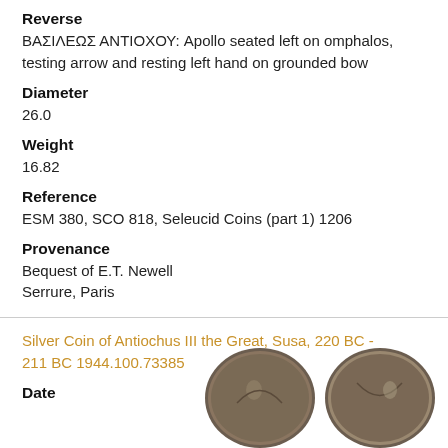Reverse
ΒΑΣΙΛΕΩΣ ΑΝΤΙΟΧΟΥ: Apollo seated left on omphalos, testing arrow and resting left hand on grounded bow
Diameter
26.0
Weight
16.82
Reference
ESM 380, SCO 818, Seleucid Coins (part 1) 1206
Provenance
Bequest of E.T. Newell
Serrure, Paris
Silver Coin of Antiochus III the Great, Susa, 220 BC - 211 BC 1944.100.73385
Date
[Figure (photo): Two ancient silver coins shown side by side at the bottom right of the page]